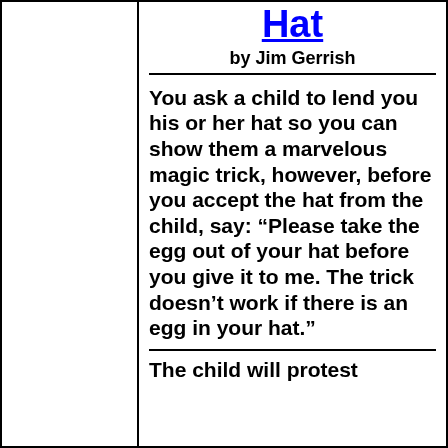Hat
by Jim Gerrish
You ask a child to lend you his or her hat so you can show them a marvelous magic trick, however, before you accept the hat from the child, say: “Please take the egg out of your hat before you give it to me. The trick doesn’t work if there is an egg in your hat.”
The child will protest